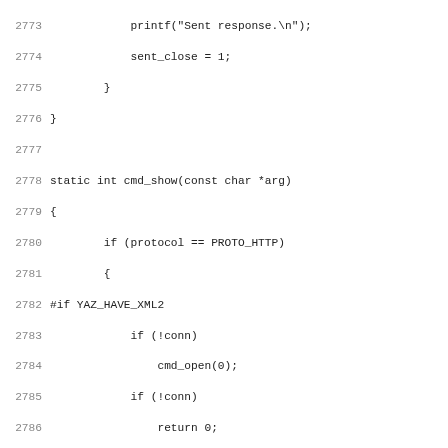Source code listing, lines 2773-2804+, showing static int cmd_show function in C with preprocessor directives #if YAZ_HAVE_XML2, #else, #endif